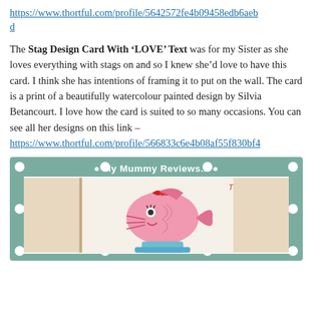https://www.thortful.com/profile/5642572fe4b09458edb6aebd
The Stag Design Card With ‘LOVE’ Text was for my Sister as she loves everything with stags on and so I knew she’d love to have this card. I think she has intentions of framing it to put on the wall. The card is a print of a beautifully watercolour painted design by Silvia Betancourt. I love how the card is suited to so many occasions. You can see all her designs on this link – https://www.thortful.com/profile/566833c6e4b08af55f830bf4
[Figure (photo): Decorative teal/green bordered frame with white polka dots and title 'My Mummy Reviews...' containing a photo of a handmade greeting card depicting a pink fish character with red bow and blue base, on a beige/brown background.]